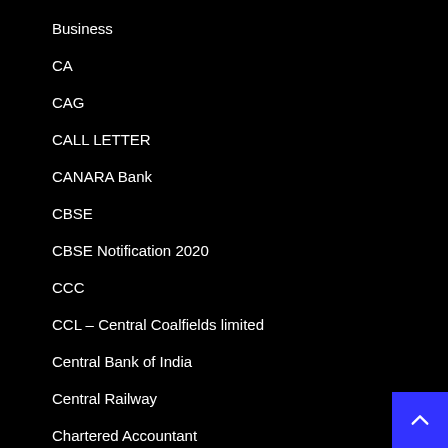Business
CA
CAG
CALL LETTER
CANARA Bank
CBSE
CBSE Notification 2020
CCC
CCL – Central Coalfields limited
Central Bank of India
Central Railway
Chartered Accountant
Chhota Udepur
Children University – Gandhinagar
CHO Job